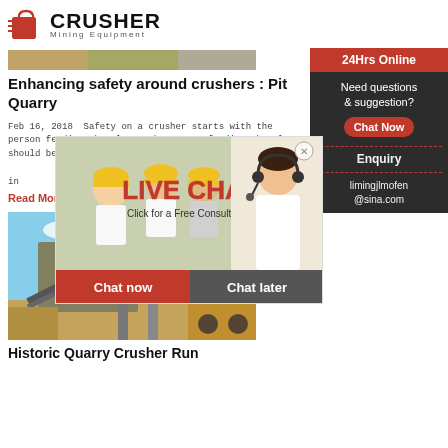CRUSHER Mining Equipment
[Figure (photo): Top image strip showing quarry/mining scene]
Enhancing safety around crushers : Pit Quarry
Feb 16, 2018  Safety on a crusher starts with the person feeding the plant. The person feeding the plant should be trained on best practices when working with the material and operating a crusher, and that knowledge should translate into everyone working around the crusher.
Read More
[Figure (photo): Historic quarry crusher machinery photo — large industrial crushing equipment on a job site]
Historic Quarry Crusher Run
[Figure (infographic): Live chat overlay with workers in hard hats on left, LIVE CHAT text in red, Click for a Free Consultation subtitle, Chat now and Chat later buttons, and customer service agent on right with 24Hrs Online banner]
24Hrs Online
Need questions & suggestion? Chat Now
Enquiry
limingjlmofen@sina.com